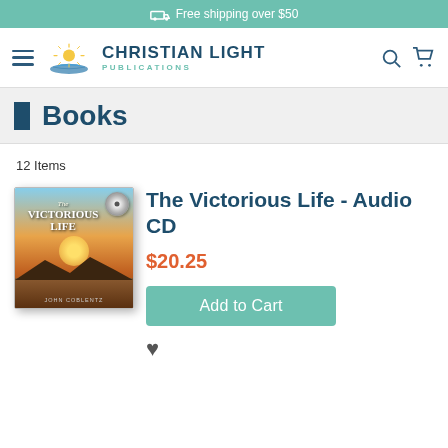Free shipping over $50
[Figure (logo): Christian Light Publications logo with sun/book icon and navigation bar including hamburger menu, search and cart icons]
Books
12 Items
[Figure (photo): The Victorious Life Audio CD product image by John Coblentz]
The Victorious Life - Audio CD
$20.25
Add to Cart